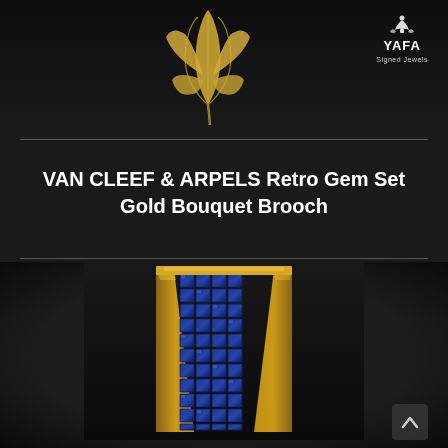[Figure (photo): A gold leaf/feather brooch by Van Cleef & Arpels on dark background, with YAFA Signed Jewels logo in top right corner]
VAN CLEEF & ARPELS Retro Gem Set Gold Bouquet Brooch
[Figure (photo): Close-up photo of a Van Cleef & Arpels brooch showing a gold Art Deco style piece with multiple rows of square-cut blue sapphires set in yellow gold framework, on dark background. An up-arrow navigation button is visible in the bottom right.]